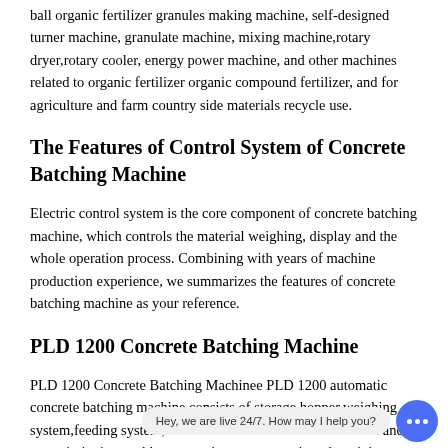ball organic fertilizer granules making machine, self-designed turner machine, granulate machine, mixing machine,rotary dryer,rotary cooler, energy power machine, and other machines related to organic fertilizer organic compound fertilizer, and for agriculture and farm country side materials recycle use.
The Features of Control System of Concrete Batching Machine
Electric control system is the core component of concrete batching machine, which controls the material weighing, display and the whole operation process. Combining with years of machine production experience, we summarizes the features of concrete batching machine as your reference.
PLD 1200 Concrete Batching Machine
PLD 1200 Concrete Batching Machinee PLD 1200 automatic concrete batching machine consists of storage hopper,weighing system,feeding system,electric contro le. Without foundation and commissioning enables convenient transportation, the mixing plant can be divided into several standard